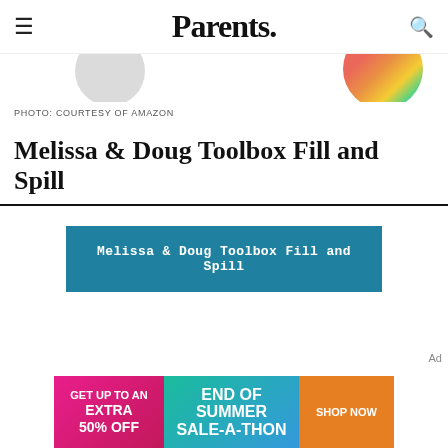Parents.
[Figure (photo): Partial product images: a gray metallic bowl/container on the left and colorful round candies/pieces on the right, cropped at top of page]
PHOTO: COURTESY OF AMAZON
Melissa & Doug Toolbox Fill and Spill
[Figure (screenshot): Teal/blue rectangular button with white serif text reading 'Melissa & Doug Toolbox Fill and Spill']
Ad
[Figure (infographic): Advertisement banner: pink left panel 'GET UP TO AN EXTRA 50% OFF', teal/blue center 'END OF SUMMER SALE-A-THON', orange right button 'SHOP NOW']